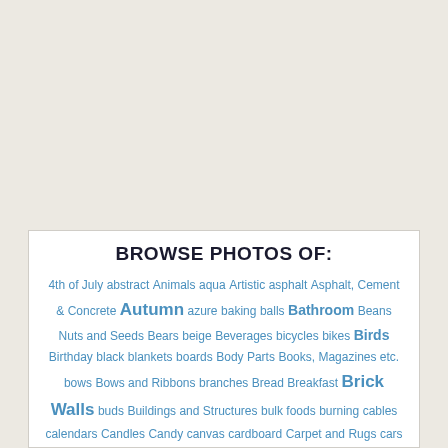BROWSE PHOTOS OF:
4th of July abstract Animals aqua Artistic asphalt Asphalt, Cement & Concrete Autumn azure baking balls Bathroom Beans Nuts and Seeds Bears beige Beverages bicycles bikes Birds Birthday black blankets boards Body Parts Books, Magazines etc. bows Bows and Ribbons branches Bread Breakfast Brick Walls buds Buildings and Structures bulk foods burning cables calendars Candles Candy canvas cardboard Carpet and Rugs cars cat fur Cats cellular shades cement Christmas Christmas lights Christmas Cloth